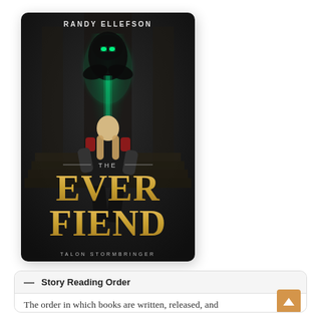[Figure (illustration): Book cover for 'The Ever Fiend' by Randy Ellefson. Dark fantasy cover showing a warrior with long blonde hair in black armor facing a shadowy figure with green glowing eyes at the top of stone steps, with green magical light between them. Title 'THE EVER FIEND' in large gold letters at bottom, series name 'TALON STORMBRINGER' below. Author name 'RANDY ELLEFSON' at top.]
— Story Reading Order
The order in which books are written, released, and